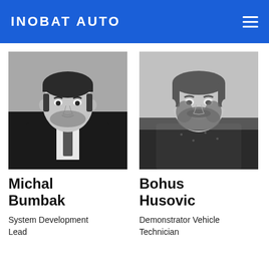INOBAT AUTO
[Figure (photo): Black and white professional headshot of Michal Bumbak, a man in a suit and tie]
[Figure (photo): Black and white photo of Bohus Husovic, a smiling man with a beard wearing a patterned shirt]
Michal Bumbak
System Development Lead
Bohus Husovic
Demonstrator Vehicle Technician